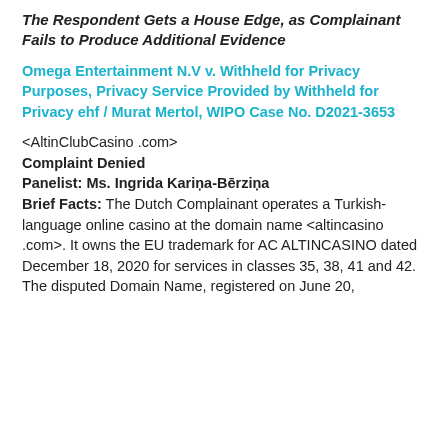The Respondent Gets a House Edge, as Complainant Fails to Produce Additional Evidence
Omega Entertainment N.V v. Withheld for Privacy Purposes, Privacy Service Provided by Withheld for Privacy ehf / Murat Mertol, WIPO Case No. D2021-3653
<AltinClubCasino .com>
Complaint Denied
Panelist: Ms. Ingrida Kariņa-Bērziņa
Brief Facts: The Dutch Complainant operates a Turkish-language online casino at the domain name <altincasino .com>. It owns the EU trademark for AC ALTINCASINO dated December 18, 2020 for services in classes 35, 38, 41 and 42. The disputed Domain Name, registered on June 20,